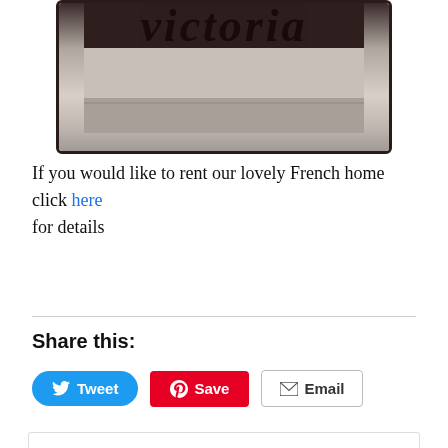[Figure (photo): Cropped photo showing gothic/blackletter text 'victoria' on a light background, bordered with dark frame]
If you would like to rent our lovely French home click here for details
Share this:
Tweet Save Email (share buttons)
Privacy & Cookies: This site uses cookies. By continuing to use this website, you agree to their use.
To find out more, including how to control cookies, see here: Cookie Policy
Close and accept